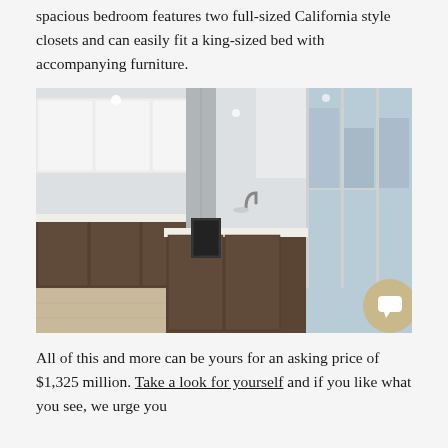spacious bedroom features two full-sized California style closets and can easily fit a king-sized bed with accompanying furniture.
[Figure (photo): Interior photo of a modern luxury apartment kitchen and living area. Features white upper cabinets, dark wood lower cabinets, a large kitchen island with sink, hardwood floors, and floor-to-ceiling windows with city views. A chat button overlay appears in the bottom right corner.]
All of this and more can be yours for an asking price of $1,325 million. Take a look for yourself and if you like what you see, we urge you to...